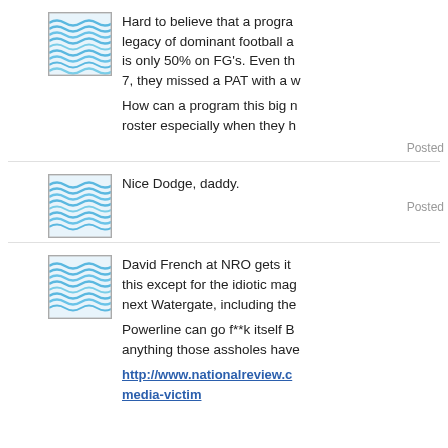[Figure (illustration): Avatar image with wavy blue water pattern, first comment]
Hard to believe that a program with such a legacy of dominant football and tradition is only 50% on FG's. Even th 7, they missed a PAT with a w
How can a program this big n roster especially when they h
Posted
[Figure (illustration): Avatar image with wavy blue water pattern, second comment]
Nice Dodge, daddy.
Posted
[Figure (illustration): Avatar image with wavy blue water pattern, third comment]
David French at NRO gets it this except for the idiotic mag next Watergate, including the
Powerline can go f**k itself B anything those assholes have
http://www.nationalreview.c media-victim